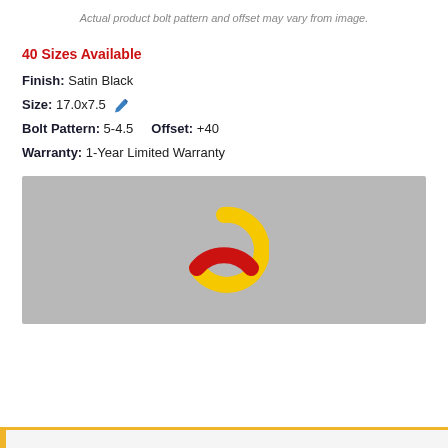Actual product bolt pattern and offset may vary from image.
40 Sizes Available
Finish: Satin Black
Size: 17.0x7.5
Bolt Pattern: 5-4.5    Offset: +40
Warranty: 1-Year Limited Warranty
[Figure (other): Loading spinner with yellow and red donut/ring on gray background]